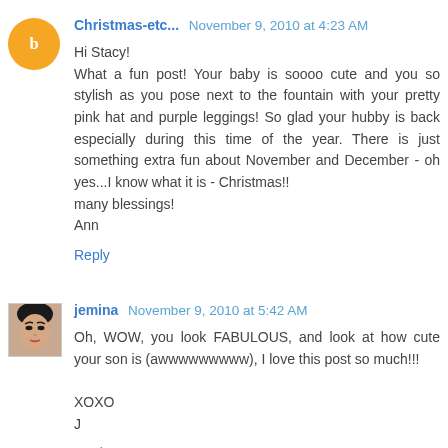Christmas-etc... November 9, 2010 at 4:23 AM
Hi Stacy!
What a fun post! Your baby is soooo cute and you so stylish as you pose next to the fountain with your pretty pink hat and purple leggings! So glad your hubby is back especially during this time of the year. There is just something extra fun about November and December - oh yes...I know what it is - Christmas!!
many blessings!
Ann
Reply
jemina November 9, 2010 at 5:42 AM
Oh, WOW, you look FABULOUS, and look at how cute your son is (awwwwwwwww), I love this post so much!!!

XOXO
J
Reply